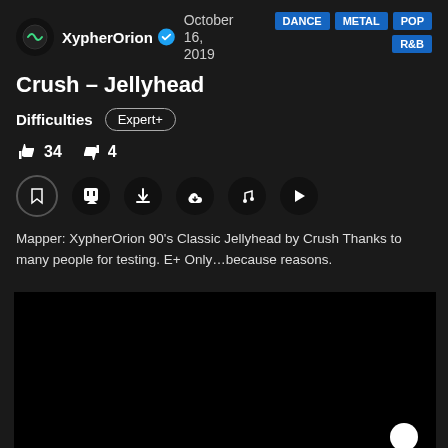XypherOrion  October 16, 2019  DANCE  METAL  POP  R&B
Crush – Jellyhead
Difficulties  Expert+
👍 34  👎 4
Mapper: XypherOrion 90's Classic Jellyhead by Crush Thanks to many people for testing. E+ Only…because reasons.
[Figure (screenshot): Black video player area with a white circular element in bottom-right corner]